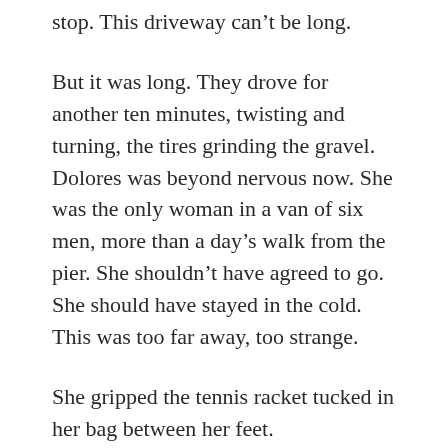stop. This driveway can't be long.
But it was long. They drove for another ten minutes, twisting and turning, the tires grinding the gravel. Dolores was beyond nervous now. She was the only woman in a van of six men, more than a day's walk from the pier. She shouldn't have agreed to go. She should have stayed in the cold. This was too far away, too strange.
She gripped the tennis racket tucked in her bag between her feet.
She wanted to make a break for it, push Hal and